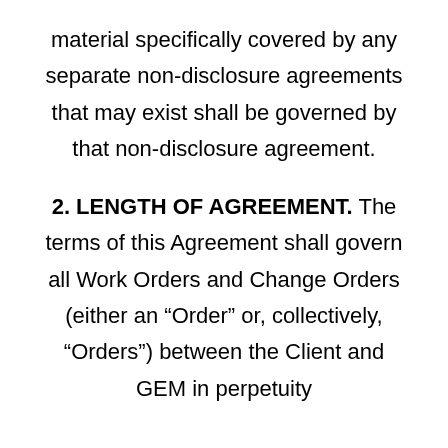material specifically covered by any separate non-disclosure agreements that may exist shall be governed by that non-disclosure agreement.
2. LENGTH OF AGREEMENT. The terms of this Agreement shall govern all Work Orders and Change Orders (either an “Order” or, collectively, “Orders”) between the Client and GEM in perpetuity